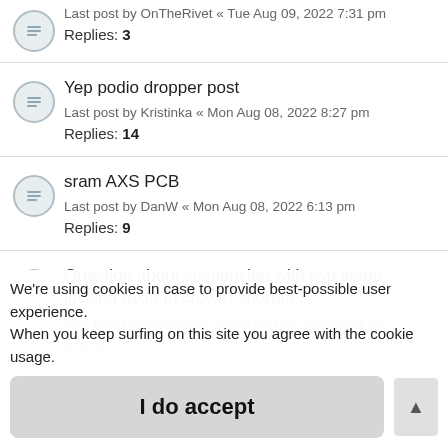Last post by OnTheRivet « Tue Aug 09, 2022 7:31 pm
Replies: 3
Yep podio dropper post
Last post by Kristinka « Mon Aug 08, 2022 8:27 pm
Replies: 14
sram AXS PCB
Last post by DanW « Mon Aug 08, 2022 6:13 pm
Replies: 9
Question about suspension with two stage locking (axle to crown) shorten
Last post by andreszucs « Mon Aug 08, 2022 3:34 pm
Replies: 2
We're using cookies in case to provide best-possible user experience. When you keep surfing on this site you agree with the cookie usage.
Santa Cruz Blur 2022  n1:2
Last ...
Repli...
I do accept